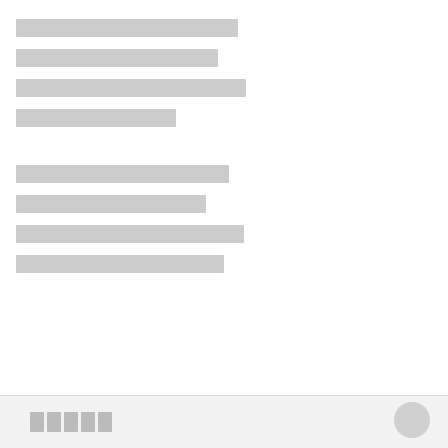[redacted line 1]
[redacted line 2]
[redacted line 3]
[redacted line 4]
[redacted line 5]
[redacted line 6]
[redacted line 7]
[redacted line 8]
[redacted footer text]